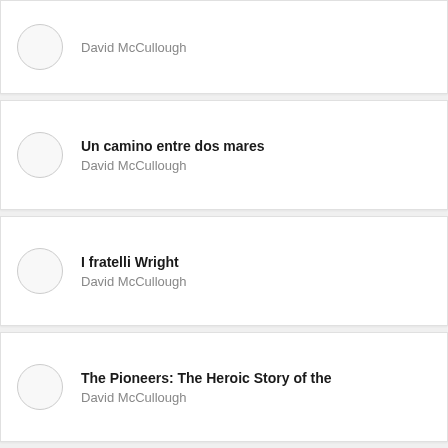David McCullough
Un camino entre dos mares
David McCullough
I fratelli Wright
David McCullough
The Pioneers: The Heroic Story of the
David McCullough
América
David McCullough